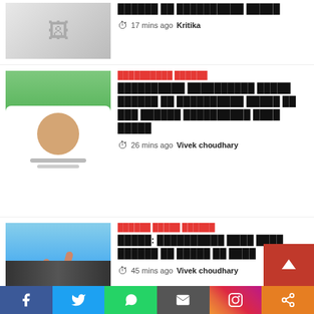[Figure (photo): Top news thumbnail image, partial view]
██████ ██ ██████████ █████
17 mins ago  Kritika
[Figure (photo): Man in white shirt speaking at microphone, gesturing with hands]
NATIONAL POLITICS (category in Hindi)
██████████ ██████████ █████ ██████ ██ ██████████ █████ ██ ███ ██████ ██████████ ████ █████
26 mins ago  Vivek choudhary
[Figure (photo): Person drowning in water, hands raised above water]
Category in Hindi
█████: ██████████ ████ ████ ██████ ██ █████ ██ ████
45 mins ago  Vivek choudhary
██████
Social share bar: Facebook, Twitter, WhatsApp, Email, Instagram, Share